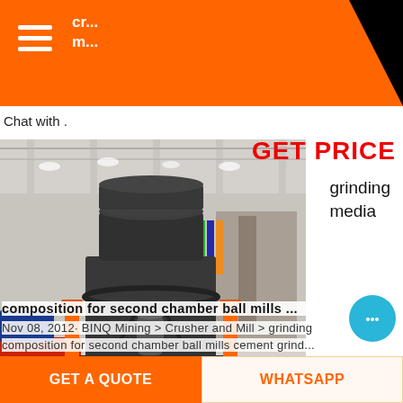cr... m...
Chat with .
GET PRICE
grinding media
[Figure (photo): Industrial grinding mill machine in a factory warehouse setting]
composition for second chamber ball mills ...
Nov 08, 2012· BINQ Mining > Crusher and Mill > grinding
composition for second chamber ball mills cement grind...
GET A QUOTE
WHATSAPP